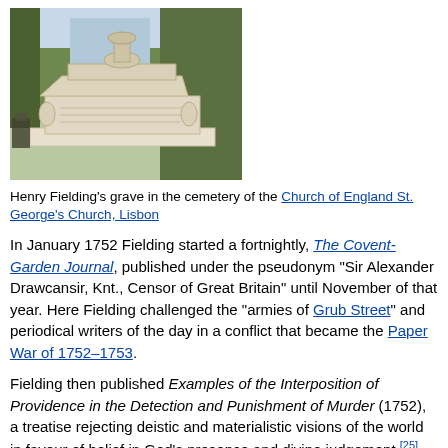[Figure (photo): Henry Fielding's grave monument — a large stone sarcophagus-style tomb with decorative urn on top, set among trees in an outdoor cemetery setting.]
Henry Fielding's grave in the cemetery of the Church of England St. George's Church, Lisbon
In January 1752 Fielding started a fortnightly, The Covent-Garden Journal, published under the pseudonym "Sir Alexander Drawcansir, Knt., Censor of Great Britain" until November of that year. Here Fielding challenged the "armies of Grub Street" and periodical writers of the day in a conflict that became the Paper War of 1752–1753.
Fielding then published Examples of the Interposition of Providence in the Detection and Punishment of Murder (1752), a treatise rejecting deistic and materialistic visions of the world in favour of belief in God's presence and divine judgement,[25] arguing that the murder rate was rising due to neglect of the